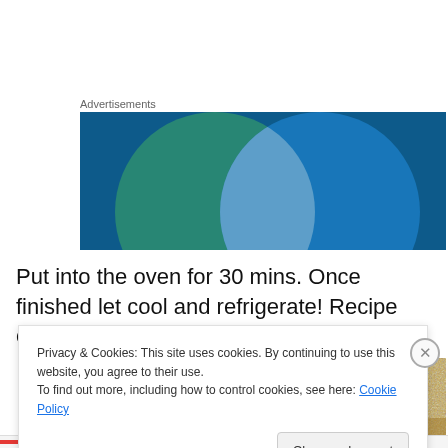Advertisements
[Figure (illustration): Advertisement banner with two overlapping circles (green and blue) on a dark blue background, forming a Venn diagram style graphic.]
Put into the oven for 30 mins. Once finished let cool and refrigerate! Recipe courtesy of the Chicago Tribune.
[Figure (photo): Close-up photo of a golden-brown baked food item on a wooden surface.]
Privacy & Cookies: This site uses cookies. By continuing to use this website, you agree to their use.
To find out more, including how to control cookies, see here: Cookie Policy